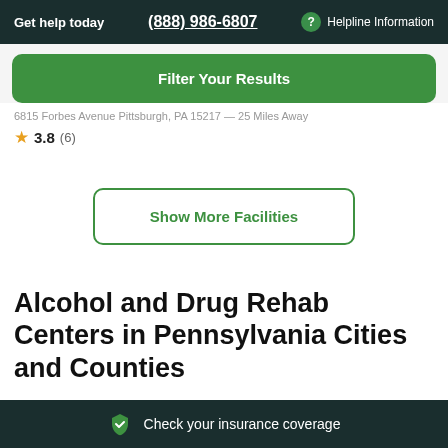Get help today  (888) 986-6807  Helpline Information
Filter Your Results
6815 Forbes Avenue Pittsburgh, PA 15217 — 25 Miles Away
★ 3.8 (6)
Show More Facilities
Alcohol and Drug Rehab Centers in Pennsylvania Cities and Counties
Check your insurance coverage